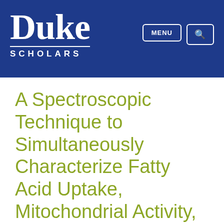[Figure (logo): Duke Scholars logo — white 'Duke' text in serif font above 'SCHOLARS' in spaced sans-serif, on dark blue background, with MENU and search (magnifying glass) navigation buttons top right]
A Spectroscopic Technique to Simultaneously Characterize Fatty Acid Uptake, Mitochondrial Activity, Vascularity, and Oxygen Saturation